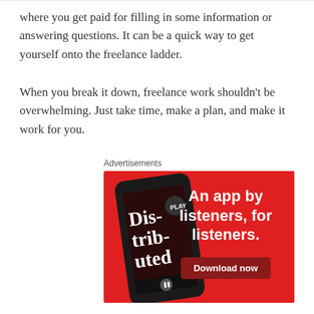where you get paid for filling in some information or answering questions. It can be a quick way to get yourself onto the freelance ladder.
When you break it down, freelance work shouldn't be overwhelming. Just take time, make a plan, and make it work for you.
Advertisements
[Figure (illustration): Red advertisement banner for a podcast app. Shows a smartphone with 'Dis-trib-uted' text on screen. Right side text reads 'An app by listeners, for listeners.' with a dark red 'Download now' button.]